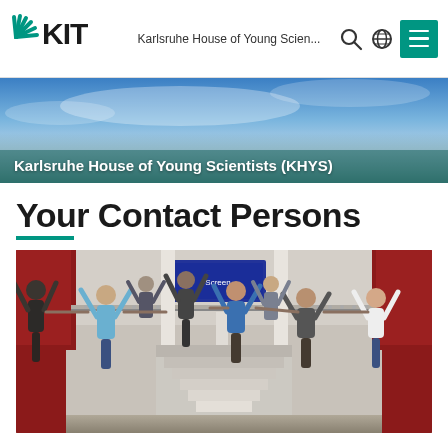Karlsruhe House of Young Scien...
[Figure (illustration): KIT (Karlsruhe Institute of Technology) logo with stylized radiating green lines and bold black KIT text]
Karlsruhe House of Young Scientists (KHYS)
Your Contact Persons
[Figure (photo): Group photo of approximately 10-11 people standing on stairs inside a modern building lobby with red accent walls, all raising their hands in celebration]